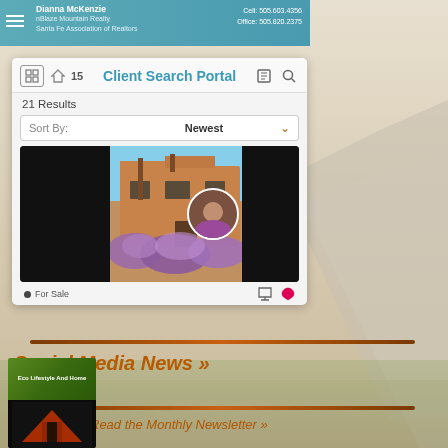[Figure (screenshot): Real estate website screenshot showing Client Search Portal with 21 results, sort by Newest, and a property listing with adobe-style home and lavender bushes. For Sale badge at bottom.]
Social Media News »
Read the Monthly Newsletter »
[Figure (photo): Eco Lifestyle And Home newsletter thumbnail with green header and dark building photo]